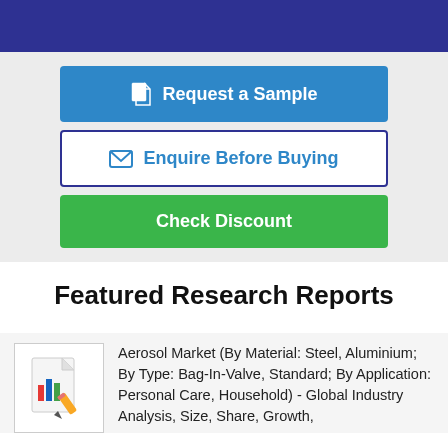[Figure (other): Dark blue header bar at top of page]
Request a Sample
Enquire Before Buying
Check Discount
Featured Research Reports
[Figure (illustration): Report icon showing a document with bar chart and pencil]
Aerosol Market (By Material: Steel, Aluminium; By Type: Bag-In-Valve, Standard; By Application: Personal Care, Household) - Global Industry Analysis, Size, Share, Growth, Trends, Forecast, Revised Outlook...